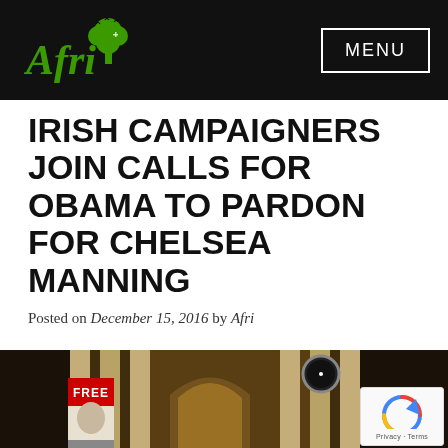Afri | MENU
IRISH CAMPAIGNERS JOIN CALLS FOR OBAMA TO PARDON FOR CHELSEA MANNING
Posted on December 15, 2016 by Afri
[Figure (photo): Protest scene outside a classical building with pillars, a FREE banner visible, and a clock; reCAPTCHA badge overlay in bottom right corner]